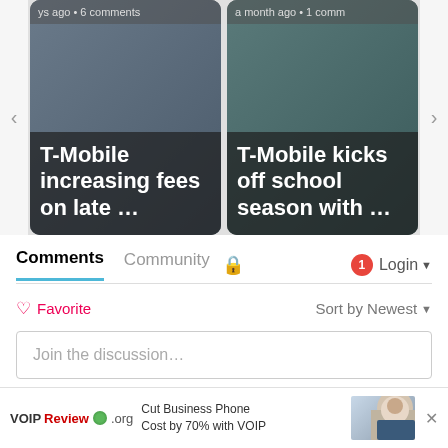[Figure (screenshot): Carousel with two article cards: 'T-Mobile increasing fees on late ...' and 'T-Mobile kicks off school season with ...' with navigation arrows]
Comments  Community  🔒  1  Login
♡ Favorite    Sort by Newest ▼
Join the discussion…
LOG IN WITH
[Figure (logo): Social login icons: Disqus (D), Facebook (f), Twitter (bird), Google (G)]
OR SIGN UP WITH DISQUS
Name
[Figure (infographic): Ad banner: VOIPReview.org — Cut Business Phone Cost by 70% with VOIP, with woman headset photo and X close button]